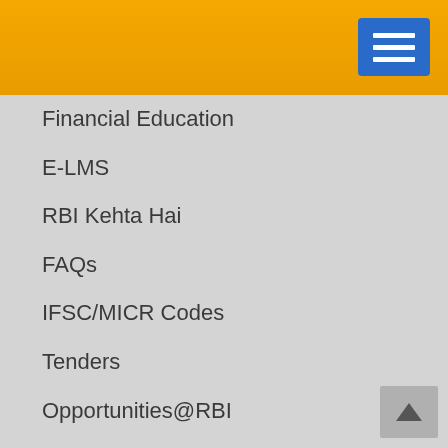[Figure (screenshot): Orange/gold header bar with blue hamburger menu button in top right corner]
Financial Education
E-LMS
RBI Kehta Hai
FAQs
IFSC/MICR Codes
Tenders
Opportunities@RBI
Bank Holidays
Forms
Events
RBI Clarifications
Right to Information Act
Important Websites
RBI's Core Purpose, Values and Vision